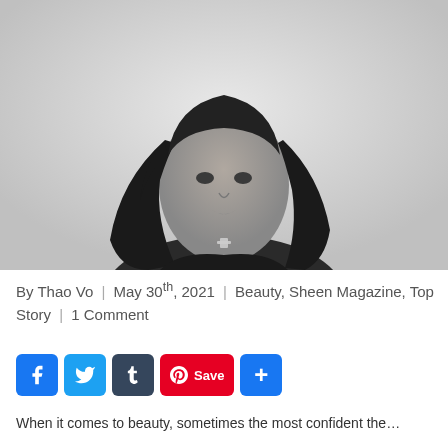[Figure (photo): Black and white portrait photo of a woman with long wavy dark hair, wearing a dark top and a cross necklace, posed against a light background.]
By Thao Vo | May 30th, 2021 | Beauty, Sheen Magazine, Top Story | 1 Comment
[Figure (infographic): Social sharing buttons: Facebook (blue), Twitter (blue), Tumblr (dark), Pinterest Save (red), and a blue plus/more button.]
When it comes to beauty, sometimes the most confident the...